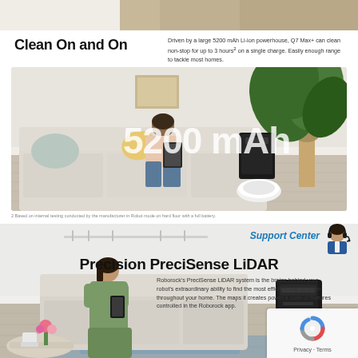[Figure (photo): Partial top image showing wood flooring / surface]
Clean On and On
Driven by a large 5200 mAh Li-ion powerhouse, Q7 Max+ can clean non-stop for up to 3 hours² on a single charge. Easily enough range to tackle most homes.
[Figure (photo): Lifestyle photo of woman sitting on sofa with robot vacuum and charging station nearby, large text overlay reading '5200 mAh']
2 Based on internal testing conducted by the manufacturer in Robot mode on hard floor with a full battery.
[Figure (photo): Lifestyle photo of woman sitting on sofa using phone, with Roborock Q7 Max+ robot vacuum and auto-empty dock in background, blue mapped floor visible]
Support Center
Precision PreciSense LiDAR
Roborock's PreciSense LiDAR system is the brains behind your robot's extraordinary ability to find the most efficient way to clean throughout your home. The maps it creates power a suite of features controlled in the Roborock app.
[Figure (logo): reCAPTCHA logo with Privacy and Terms text]